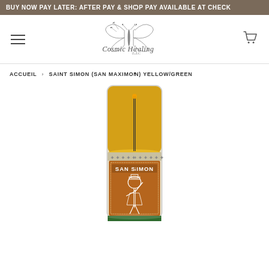BUY NOW PAY LATER: AFTER PAY & SHOP PAY AVAILABLE AT CHECK
[Figure (logo): Cosmic Healing LLC logo with butterfly and botanical illustration]
ACCUEIL › SAINT SIMON (SAN MAXIMON) YELLOW/GREEN
[Figure (photo): San Simon (San Maximon) yellow/green prayer candle in glass jar with orange/brown label showing a figure and the text SAN SIMON]